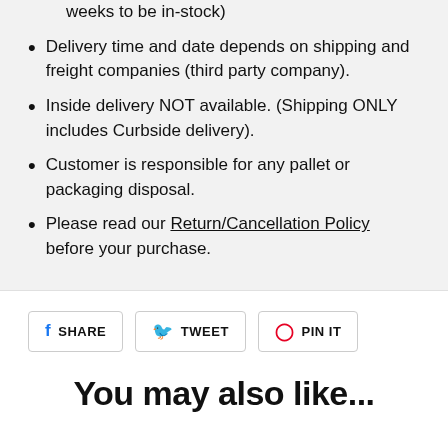weeks to be in-stock)
Delivery time and date depends on shipping and freight companies (third party company).
Inside delivery NOT available. (Shipping ONLY includes Curbside delivery).
Customer is responsible for any pallet or packaging disposal.
Please read our Return/Cancellation Policy before your purchase.
SHARE   TWEET   PIN IT
You may also like...